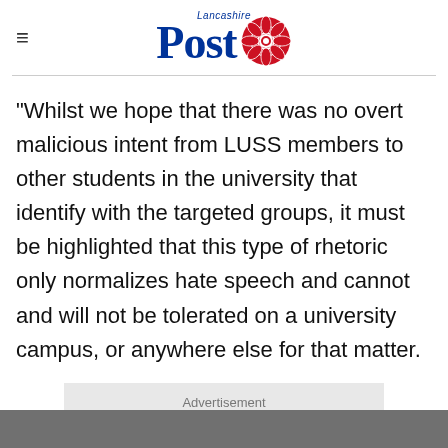Lancashire Post
“Whilst we hope that there was no overt malicious intent from LUSS members to other students in the university that identify with the targeted groups, it must be highlighted that this type of rhetoric only normalizes hate speech and cannot and will not be tolerated on a university campus, or anywhere else for that matter.
Advertisement